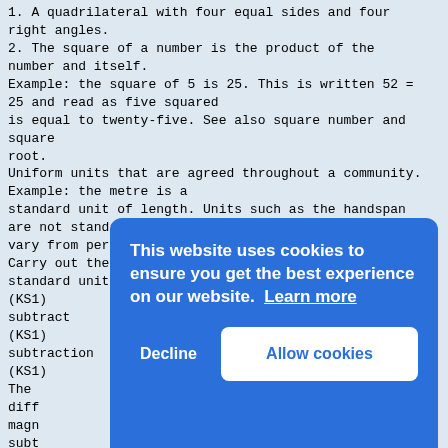1. A quadrilateral with four equal sides and four right angles.
2. The square of a number is the product of the number and itself.
Example: the square of 5 is 25. This is written 52 = 25 and read as five squared
is equal to twenty-five. See also square number and square
root.
Uniform units that are agreed throughout a community. Example: the metre is a
standard unit of length. Units such as the handspan are not standard as they
vary from person to person.
Carry out the process of subtraction
standard unit
(KS1)
subtract
(KS1)
subtraction
(KS1)
The
diff
magn
subt
(KS1
A nu
See
sum
(KS1
The
surface
(KS1)
[Figure (screenshot): Cookie consent banner overlay with blue background. Text reads: 'This website uses cookies to ensure you get the best experience on our website. Learn more' with 'Decline' and 'Allow cookies' buttons.]